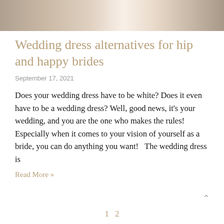[Figure (photo): Top portion of a wedding dress / bride photo, showing lace fabric and decorative elements in soft beige and cream tones.]
Wedding dress alternatives for hip and happy brides
September 17, 2021
Does your wedding dress have to be white? Does it even have to be a wedding dress? Well, good news, it's your wedding, and you are the one who makes the rules! Especially when it comes to your vision of yourself as a bride, you can do anything you want!   The wedding dress is
Read More »
1  2